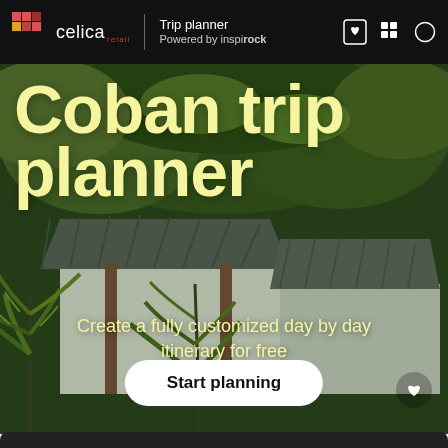celica | Trip planner Powered by inspirock
Coban trip planner
Create a fully customized day by day itinerary for free
Start planning
[Figure (photo): Background photo of a tropical jungle cabin/bungalow with lush green fern trees and a metal corrugated roof, suggesting a rainforest setting in Coban, Guatemala.]